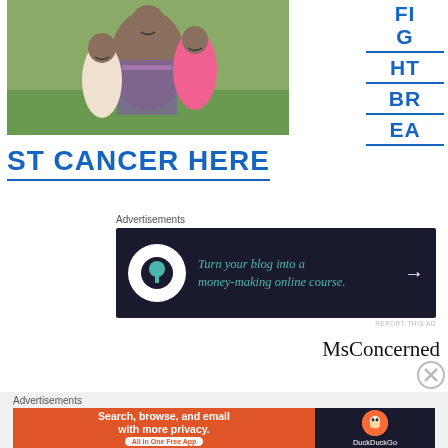[Figure (photo): Photo of a woman with two young girls outdoors on grass]
[Figure (other): Vertical text reading FIGHT BREAST CANCER with blue letters and horizontal rules]
ST CANCER HERE
Advertisements
[Figure (screenshot): Advertisement: Turn your blog into a money-making online course. Dark background with teal text and arrow.]
REPORT THIS AD
MsConcerned
Advertisements
[Figure (screenshot): DuckDuckGo ad: Search, browse, and email with more privacy. All in One Free App. Orange left panel and dark right panel with DuckDuckGo logo.]